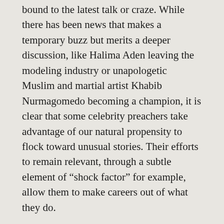bound to the latest talk or craze. While there has been news that makes a temporary buzz but merits a deeper discussion, like Halima Aden leaving the modeling industry or unapologetic Muslim and martial artist Khabib Nurmagomedo becoming a champion, it is clear that some celebrity preachers take advantage of our natural propensity to flock toward unusual stories. Their efforts to remain relevant, through a subtle element of “shock factor” for example, allow them to make careers out of what they do.
Like secular influencers, preachers on Youtube are often monetized through brand sponsorships. Other flows of revenue come from “course bundles” advertised in the description of their videos. These bundles for classes on Islam are sometimes named in catchpenny fashion and led by teachers whose